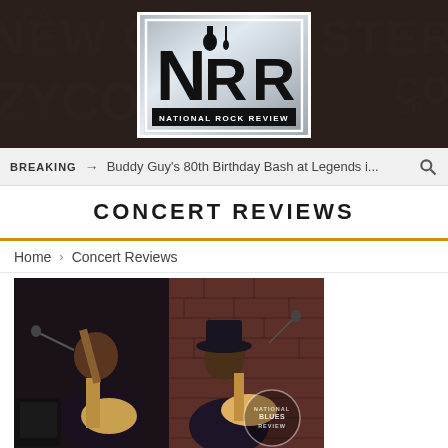[Figure (logo): National Rock Review logo — NRR letters with guitar silhouette on metallic silver background with white border, set against dark brick background header with faded text words like 'New Orleans', 'ZYDECO', 'CHESTER']
BREAKING → Buddy Guy's 80th Birthday Bash at Legends i...
CONCERT REVIEWS
Home > Concert Reviews
[Figure (photo): Two musicians performing on stage in a brick-walled venue. Left musician is a bald Black man singing into a microphone and playing a light-colored electric guitar, wearing a dark shirt. Right musician wears a fedora-style hat and plays an electric guitar, also in dark clothing. A 'National Blues Review' watermark circle is visible in the bottom right corner of the photo.]